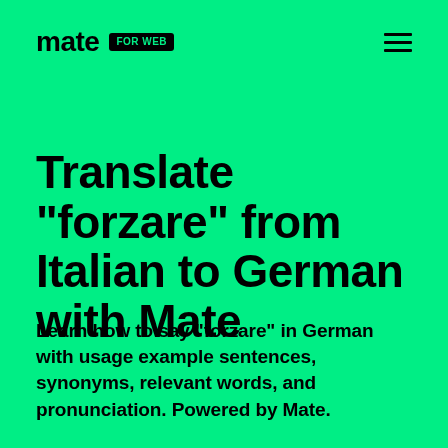mate FOR WEB
Translate "forzare" from Italian to German with Mate
Learn how to say "forzare" in German with usage example sentences, synonyms, relevant words, and pronunciation. Powered by Mate.